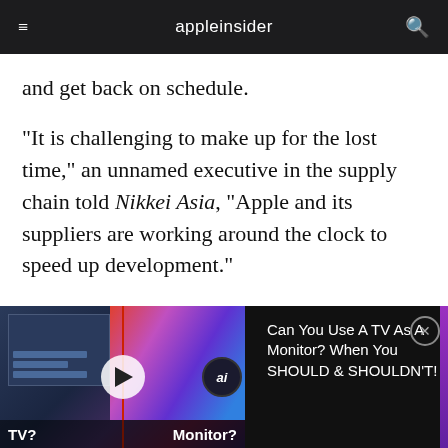appleinsider
and get back on schedule.
"It is challenging to make up for the lost time," an unnamed executive in the supply chain told Nikkei Asia, "Apple and its suppliers are working around the clock to speed up development."
Normally, all new models reportedly complete EVT by the end of June, leaving time for mass production to be readied by the end of August,
[Figure (screenshot): Video ad thumbnail showing TV vs Monitor comparison with play button overlay and labels 'TV?' and 'Monitor?']
Can You Use A TV As A Monitor? When You SHOULD & SHOULDN'T!